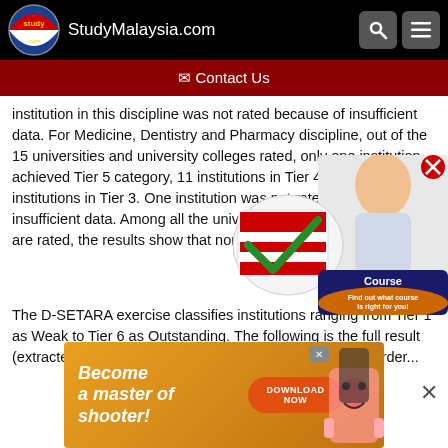StudyMalaysia.com
✉ Contact Us
institution in this discipline was not rated because of insufficient data. For Medicine, Dentistry and Pharmacy discipline, out of the 15 universities and university colleges rated, only one institution achieved Tier 5 category, 11 institutions in Tier 4 and two institutions in Tier 3. One institution was not rated because of insufficient data. Among all the universities and university colleges are rated, the results show that none of them i...
[Figure (screenshot): Course Interest Test popup with Malaysian flag logo, person thinking, and 'Find out what course is right for you!' text. Red X close button visible.]
The D-SETARA exercise classifies institutions ranging from Tier 1 as Weak to Tier 6 as Outstanding. The following is the full result (extracted from www.mqa.gov.my), listed in alphabetical order...
[Figure (screenshot): Advertisement banner: 'Become a master of shooter!' with 'DOWNLOAD NOW' orange button and game characters on golden background.]